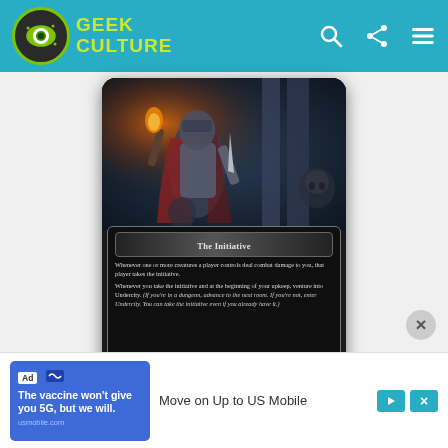Geek Culture
[Figure (illustration): Magic: The Gathering card 'The Initiative' from CLB set (020/020 H). Top half shows dark fantasy artwork of an armored figure with a torch and blade in a dungeon. Bottom half shows card text box with rules text.]
[Figure (illustration): Advertisement banner: Ad | Move on Up to US Mobile with US Mobile logo and blue ad box reading 'The vaccine won't give you 5G, but we will.' usmobile.com]